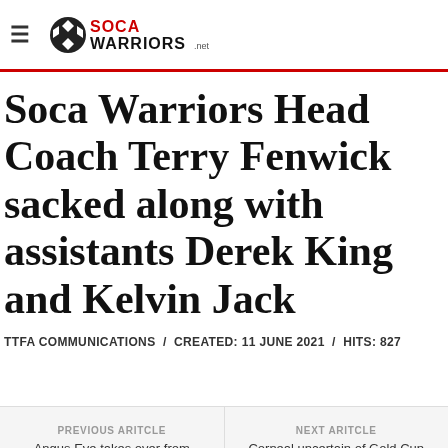≡ SOCAWARRIORS.net
Soca Warriors Head Coach Terry Fenwick sacked along with assistants Derek King and Kelvin Jack
TTFA COMMUNICATIONS / CREATED: 11 JUNE 2021 / HITS: 827
PREVIOUS ARITCLE
Angus Eve takes over from Fenwick
NEXT ARITCLE
Corneal uncertain of Gold Cup qualification